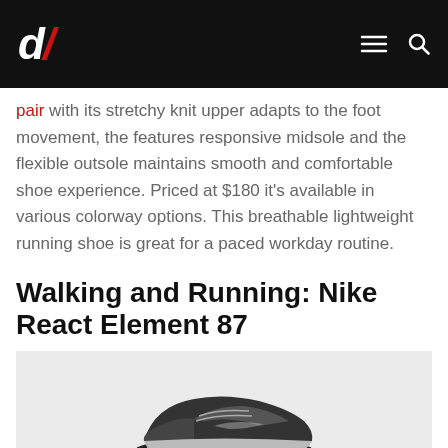d/ [logo] with hamburger menu and search icon
pair with its stretchy knit upper adapts to the foot movement, the features responsive midsole and the flexible outsole maintains smooth and comfortable shoe experience. Priced at $180 it's available in various colorway options. This breathable lightweight running shoe is great for a paced workday routine.
Walking and Running: Nike React Element 87
[Figure (photo): Photo of a Nike React Element 87 shoe, shown from the side, black and white shoe on a light gray background, partially cropped at bottom of page.]